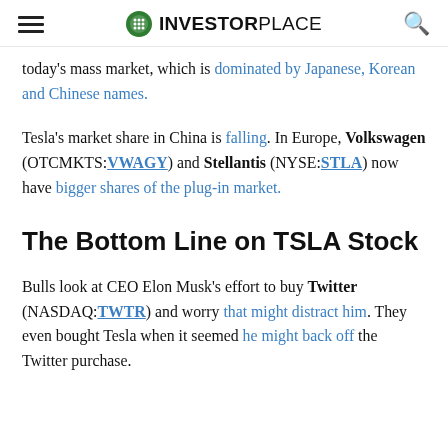INVESTORPLACE
today's mass market, which is dominated by Japanese, Korean and Chinese names.
Tesla's market share in China is falling. In Europe, Volkswagen (OTCMKTS:VWAGY) and Stellantis (NYSE:STLA) now have bigger shares of the plug-in market.
The Bottom Line on TSLA Stock
Bulls look at CEO Elon Musk's effort to buy Twitter (NASDAQ:TWTR) and worry that might distract him. They even bought Tesla when it seemed he might back off the Twitter purchase.